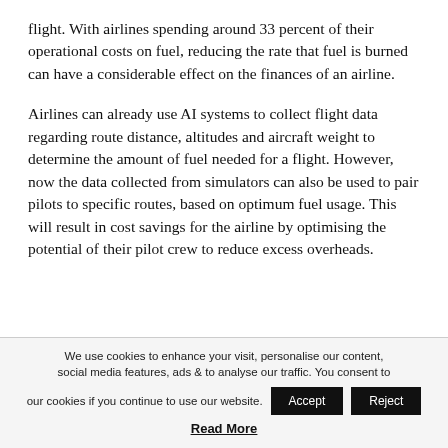flight. With airlines spending around 33 percent of their operational costs on fuel, reducing the rate that fuel is burned can have a considerable effect on the finances of an airline.
Airlines can already use AI systems to collect flight data regarding route distance, altitudes and aircraft weight to determine the amount of fuel needed for a flight. However, now the data collected from simulators can also be used to pair pilots to specific routes, based on optimum fuel usage. This will result in cost savings for the airline by optimising the potential of their pilot crew to reduce excess overheads.
We use cookies to enhance your visit, personalise our content, social media features, ads & to analyse our traffic. You consent to our cookies if you continue to use our website. [Accept] [Reject]
Read More